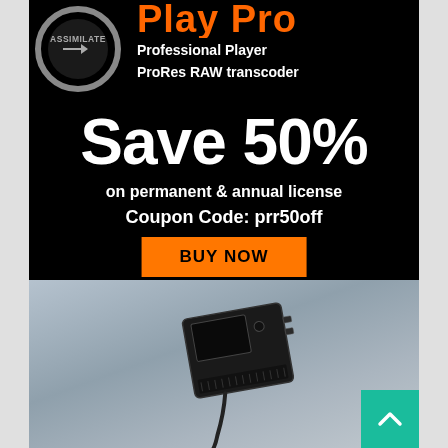[Figure (logo): Assimilate circular logo with ring and arrow]
Play Pro
Professional Player
ProRes RAW transcoder
Save 50%
on permanent & annual license
Coupon Code: prr50off
BUY NOW
[Figure (photo): Camera or electronic device photographed against cloudy sky background]
[Figure (other): Back to top button - teal/green square with upward chevron arrow]